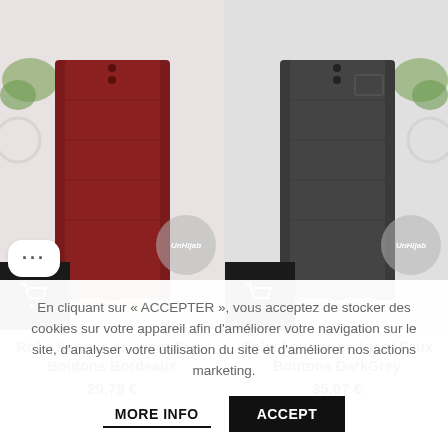[Figure (photo): Two product photos side by side: left shows a dark burgundy/bordeaux long knit skirt with decorative buttons, right shows a dark grey long knit skirt with decorative buttons. Both have shopping cart buttons overlaid at bottom-left and UnHijab watermarks.]
Robe Longue en tricot Faux Boutons Bordeaux
Robe Longue en tricot Faux Boutons DarkGrey
En cliquant sur « ACCEPTER », vous acceptez de stocker des cookies sur votre appareil afin d'améliorer votre navigation sur le site, d'analyser votre utilisation du site et d'améliorer nos actions marketing.
MORE INFO
ACCEPT